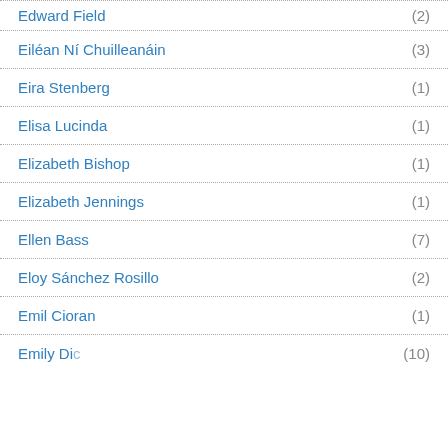Edward Field (2)
Eiléan Ní Chuilleanáin (3)
Eira Stenberg (1)
Elisa Lucinda (1)
Elizabeth Bishop (1)
Elizabeth Jennings (1)
Ellen Bass (7)
Eloy Sánchez Rosillo (2)
Emil Cioran (1)
Emily Dickinson (10)